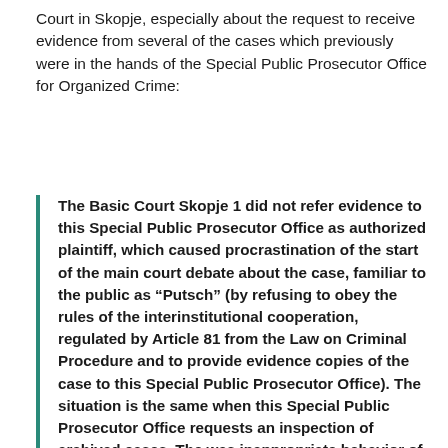Court in Skopje, especially about the request to receive evidence from several of the cases which previously were in the hands of the Special Public Prosecutor Office for Organized Crime:
The Basic Court Skopje 1 did not refer evidence to this Special Public Prosecutor Office as authorized plaintiff, which caused procrastination of the start of the main court debate about the case, familiar to the public as “Putsch” (by refusing to obey the rules of the interinstitutional cooperation, regulated by Article 81 from the Law on Criminal Procedure and to provide evidence copies of the case to this Special Public Prosecutor Office). The situation is the same when this Special Public Prosecutor Office requests an inspection of archived cases. The was inappropriate behavior of other institutions